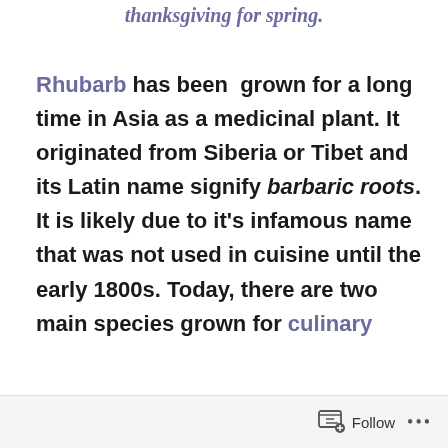thanksgiving for spring.
Rhubarb has been grown for a long time in Asia as a medicinal plant. It originated from Siberia or Tibet and its Latin name signify barbaric roots. It is likely due to it's infamous name that was not used in cuisine until the early 1800s. Today, there are two main species grown for culinary
Follow ...